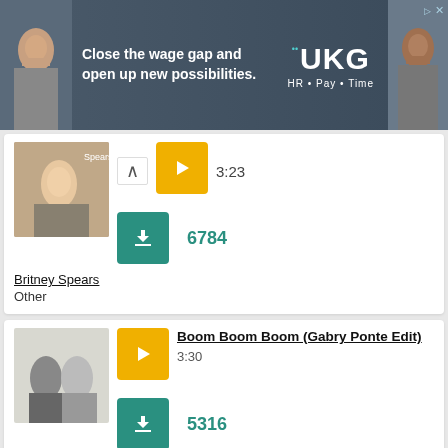[Figure (photo): UKG advertisement banner with two faces and text 'Close the wage gap and open up new possibilities. UKG HR · Pay · Time']
3:23
6784
Britney Spears
Other
Boom Boom Boom (Gabry Ponte Edit)
3:30
5316
Indaqo
Pop